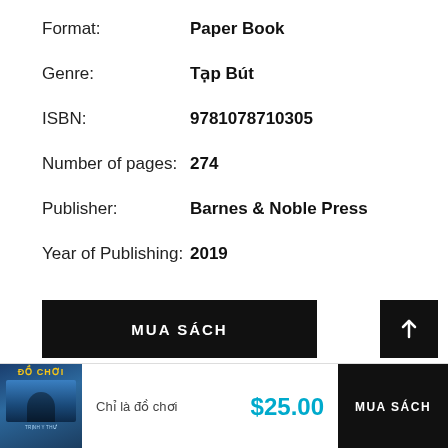| Field | Value |
| --- | --- |
| Format: | Paper Book |
| Genre: | Tạp Bút |
| ISBN: | 9781078710305 |
| Number of pages: | 274 |
| Publisher: | Barnes & Noble Press |
| Year of Publishing: | 2019 |
MUA SÁCH
[Figure (other): Black square button with upward arrow icon]
[Figure (photo): Book cover thumbnail for Đồ Chơi by Trịnh Y Thư, with dark blue background and stylized figure]
Chỉ là đồ chơi
$25.00
MUA SÁCH